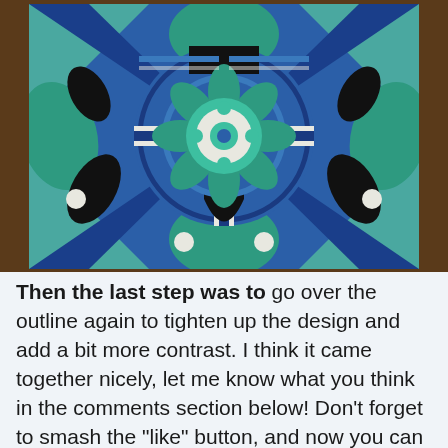[Figure (photo): A decorative painted tile with a symmetrical geometric and floral pattern in shades of blue, teal, green, black, and white, photographed on a wooden surface.]
Then the last step was to go over the outline again to tighten up the design and add a bit more contrast. I think it came together nicely, let me know what you think in the comments section below! Don't forget to smash the "like" button, and now you can even share posts directly from my blog to Facebook.